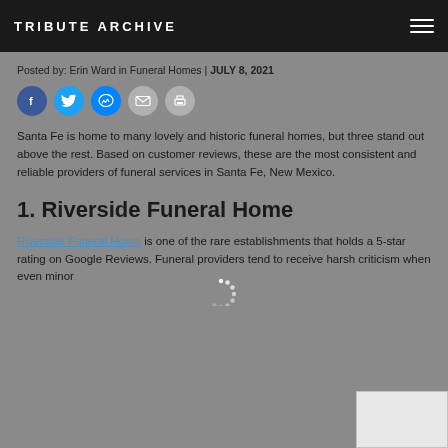TRIBUTE ARCHIVE
Posted by: Erin Ward in Funeral Homes | JULY 8, 2021
[Figure (infographic): Row of five social sharing icons: Facebook (dark blue), Twitter (light blue), Messenger (blue), Email (grey), Print (grey)]
Santa Fe is home to many lovely and historic funeral homes, but three stand out above the rest. Based on customer reviews, these are the most consistent and reliable providers of funeral services in Santa Fe, New Mexico.
1. Riverside Funeral Home
Riverside Funeral Home is one of the rare establishments that holds a 5-star rating on Google Reviews. Funeral providers tend to receive harsh criticism when even minor